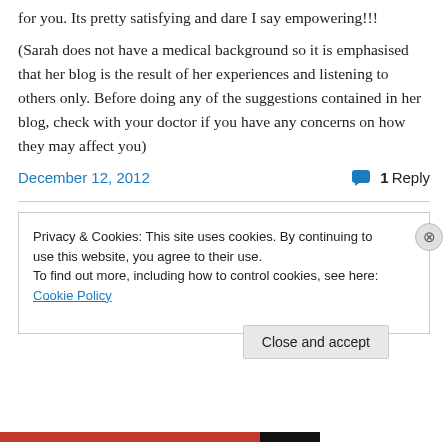for you. Its pretty satisfying and dare I say empowering!!!
(Sarah does not have a medical background so it is emphasised that her blog is the result of her experiences and listening to others only. Before doing any of the suggestions contained in her blog, check with your doctor if you have any concerns on how they may affect you)
December 12, 2012   1 Reply
Privacy & Cookies: This site uses cookies. By continuing to use this website, you agree to their use. To find out more, including how to control cookies, see here: Cookie Policy